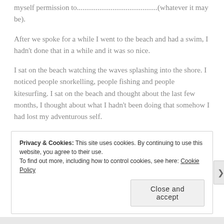myself permission to...........................................(whatever it may be).
After we spoke for a while I went to the beach and had a swim, I hadn't done that in a while and it was so nice.
I sat on the beach watching the waves splashing into the shore. I noticed people snorkelling, people fishing and people kitesurfing. I sat on the beach and thought about the last few months, I thought about what I hadn't been doing that somehow I had lost my adventurous self.
Privacy & Cookies: This site uses cookies. By continuing to use this website, you agree to their use.
To find out more, including how to control cookies, see here: Cookie Policy
[Close and accept]